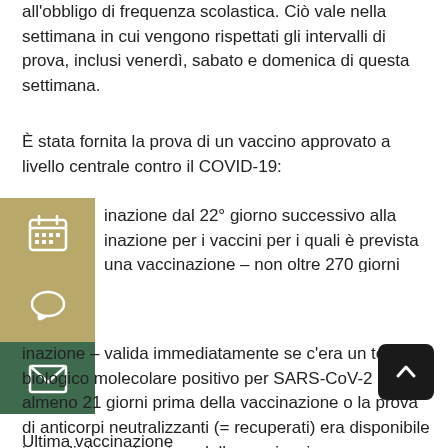all'obbligo di frequenza scolastica. Ciò vale nella settimana in cui vengono rispettati gli intervalli di prova, inclusi venerdì, sabato e domenica di questa settimana.
È stata fornita la prova di un vaccino approvato a livello centrale contro il COVID-19:
Vaccinazione dal 22° giorno successivo alla vaccinazione per i vaccini per i quali è prevista una sola vaccinazione – non oltre 270 giorni
Vaccinazione – valida immediatamente se c'era un test biologico molecolare positivo per SARS-CoV-2 almeno 21 giorni prima della vaccinazione o la prova di anticorpi neutralizzanti (= recuperati) era disponibile immediatamente prima della vaccinazione, ma non più vecchia di 270 giorni.
Ultima vaccinazione fornisce protezione di basso...